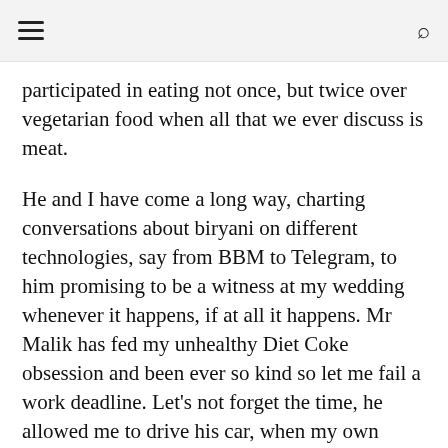≡  🔍
participated in eating not once, but twice over vegetarian food when all that we ever discuss is meat.
He and I have come a long way, charting conversations about biryani on different technologies, say from BBM to Telegram, to him promising to be a witness at my wedding whenever it happens, if at all it happens. Mr Malik has fed my unhealthy Diet Coke obsession and been ever so kind so let me fail a work deadline. Let's not forget the time, he allowed me to drive his car, when my own parents did not and I rammed it in the society gates at Westend. The